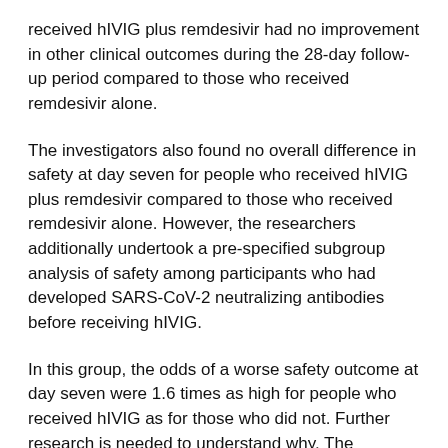received hIVIG plus remdesivir had no improvement in other clinical outcomes during the 28-day follow-up period compared to those who received remdesivir alone.
The investigators also found no overall difference in safety at day seven for people who received hIVIG plus remdesivir compared to those who received remdesivir alone. However, the researchers additionally undertook a pre-specified subgroup analysis of safety among participants who had developed SARS-CoV-2 neutralizing antibodies before receiving hIVIG.
In this group, the odds of a worse safety outcome at day seven were 1.6 times as high for people who received hIVIG as for those who did not. Further research is needed to understand why. The difference was no longer apparent on day 28. (ANI)